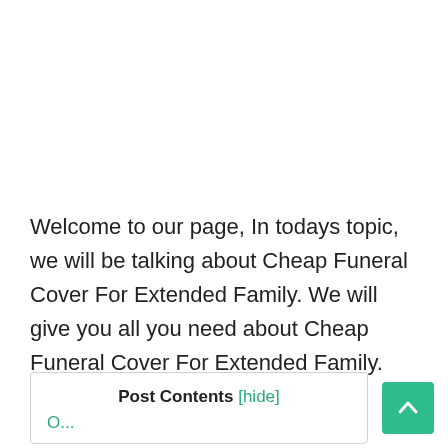Welcome to our page, In todays topic, we will be talking about Cheap Funeral Cover For Extended Family. We will give you all you need about Cheap Funeral Cover For Extended Family.
Post Contents [hide]